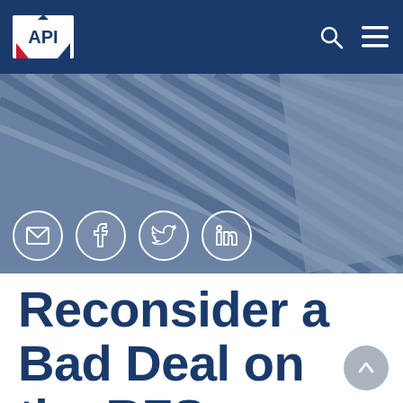[Figure (screenshot): API (American Petroleum Institute) website navigation bar with dark blue background, API logo on the left, search and hamburger menu icons on the right]
[Figure (photo): Aerial view of a modern office building with diagonal striped glass facade in blue-grey tones, used as hero background image]
[Figure (other): Social sharing icons overlay on hero image: email, Facebook, Twitter, LinkedIn — each in white circle outlines]
Reconsider a Bad Deal on the RFS